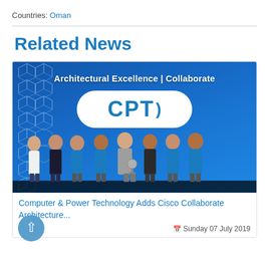Countries: Oman
Related News
[Figure (photo): Group photo of approximately 8 men standing in front of a blue backdrop showing 'Architectural Excellence | Collaborate' and a CPT logo on a white rounded rectangle. Most men are wearing light blue polo shirts. One man in the center wears a grey suit jacket and is holding an award trophy.]
Computer & Power Technology Adds Cisco Collaborate Architecture...
Sunday 07 July 2019